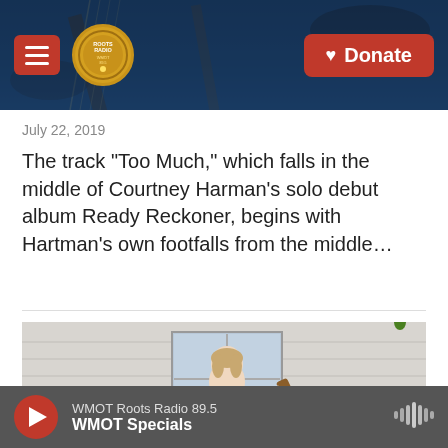Roots Radio / Donate
July 22, 2019
The track "Too Much," which falls in the middle of Courtney Harman's solo debut album Ready Reckoner, begins with Hartman's own footfalls from the middle…
[Figure (photo): Woman in black dress holding acoustic guitar, standing against white siding of a building]
WMOT Roots Radio 89.5 — WMOT Specials